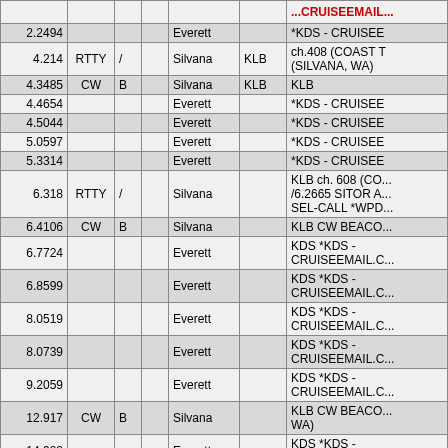| Freq | Mode |  |  | Location | Callsign | Notes |
| --- | --- | --- | --- | --- | --- | --- |
| 2.2494 |  |  |  | Everett |  | *KDS - CRUISEE... |
| 4.214 | RTTY | / |  | Silvana | KLB | ch.408 (COAST T... (SILVANA, WA) |
| 4.3485 | CW | B |  | Silvana | KLB | KLB |
| 4.4654 |  |  |  | Everett |  | *KDS - CRUISEE... |
| 4.5044 |  |  |  | Everett |  | *KDS - CRUISEE... |
| 5.0597 |  |  |  | Everett |  | *KDS - CRUISEE... |
| 5.3314 |  |  |  | Everett |  | *KDS - CRUISEE... |
| 6.318 | RTTY | / |  | Silvana |  | KLB ch. 608 (CO... /6.2665 SITOR A... SEL-CALL *WPD... |
| 6.4106 | CW | B |  | Silvana |  | KLB CW BEACO... |
| 6.7724 |  |  |  | Everett |  | KDS *KDS - CRUISEEMAIL.C... |
| 6.8599 |  |  |  | Everett |  | KDS *KDS - CRUISEEMAIL.C... |
| 8.0519 |  |  |  | Everett |  | KDS *KDS - CRUISEEMAIL.C... |
| 8.0739 |  |  |  | Everett |  | KDS *KDS - CRUISEEMAIL.C... |
| 9.2059 |  |  |  | Everett |  | KDS *KDS - CRUISEEMAIL.C... |
| 12.917 | CW | B |  | Silvana |  | KLB CW BEACO... WA) |
| 14.902 |  |  |  | Everett |  | KDS *KDS - CRUISEEMAIL.C... |